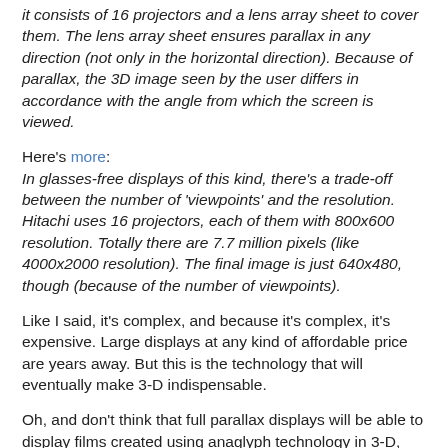it consists of 16 projectors and a lens array sheet to cover them. The lens array sheet ensures parallax in any direction (not only in the horizontal direction). Because of parallax, the 3D image seen by the user differs in accordance with the angle from which the screen is viewed.
Here's more: In glasses-free displays of this kind, there's a trade-off between the number of 'viewpoints' and the resolution. Hitachi uses 16 projectors, each of them with 800x600 resolution. Totally there are 7.7 million pixels (like 4000x2000 resolution). The final image is just 640x480, though (because of the number of viewpoints).
Like I said, it's complex, and because it's complex, it's expensive. Large displays at any kind of affordable price are years away. But this is the technology that will eventually make 3-D indispensable.
Oh, and don't think that full parallax displays will be able to display films created using anaglyph technology in 3-D, because they won't. All of these technologies are